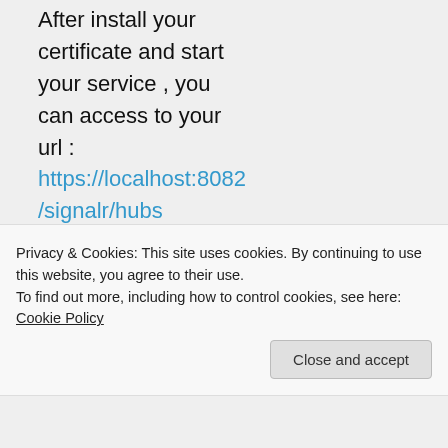After install your certificate and start your service , you can access to your url : https://localhost:8082/signalr/hubs and will see the next info. of your Hub.

/*!
Privacy & Cookies: This site uses cookies. By continuing to use this website, you agree to their use.
To find out more, including how to control cookies, see here: Cookie Policy
Close and accept